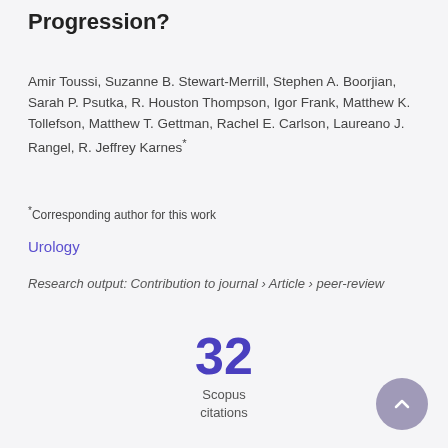Progression?
Amir Toussi, Suzanne B. Stewart-Merrill, Stephen A. Boorjian, Sarah P. Psutka, R. Houston Thompson, Igor Frank, Matthew K. Tollefson, Matthew T. Gettman, Rachel E. Carlson, Laureano J. Rangel, R. Jeffrey Karnes*
*Corresponding author for this work
Urology
Research output: Contribution to journal › Article › peer-review
32 Scopus citations